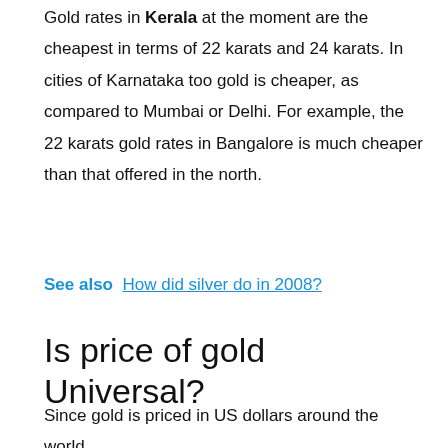Gold rates in Kerala at the moment are the cheapest in terms of 22 karats and 24 karats. In cities of Karnataka too gold is cheaper, as compared to Mumbai or Delhi. For example, the 22 karats gold rates in Bangalore is much cheaper than that offered in the north.
See also  How did silver do in 2008?
Is price of gold Universal?
Since gold is priced in US dollars around the world, the spot price is the same everywhere at any